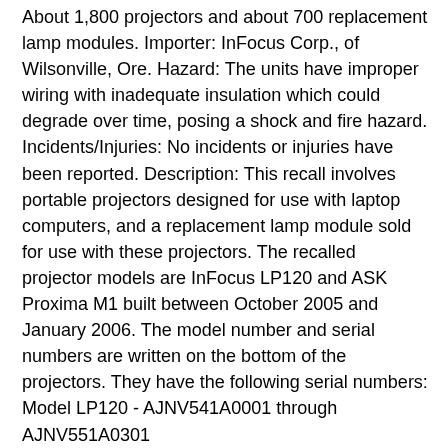About 1,800 projectors and about 700 replacement lamp modules. Importer: InFocus Corp., of Wilsonville, Ore. Hazard: The units have improper wiring with inadequate insulation which could degrade over time, posing a shock and fire hazard. Incidents/Injuries: No incidents or injuries have been reported. Description: This recall involves portable projectors designed for use with laptop computers, and a replacement lamp module sold for use with these projectors. The recalled projector models are InFocus LP120 and ASK Proxima M1 built between October 2005 and January 2006. The model number and serial numbers are written on the bottom of the projectors. They have the following serial numbers: Model LP120 - AJNV541A0001 through AJNV551A0301 Model M1 - AKUV546A0001 through AKUV547A0268 The recalled replacement lamp module is SP-LAMP-013 built between November 2005 and January 2006. There is no writing on the lamps, but "SP-LAMP-013" is on the label on the box. Sold by: Direct phone and Web sales